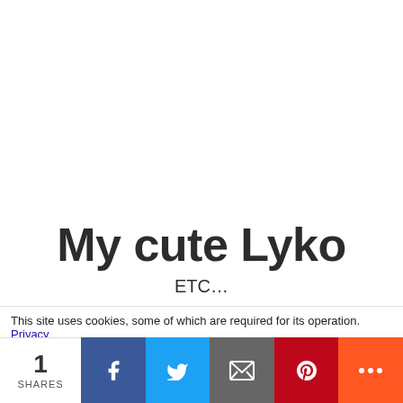My cute Lyko
ETC…
This site uses cookies, some of which are required for its operation. Privacy
1 SHARES